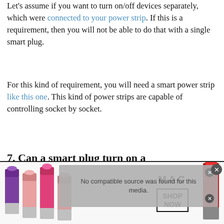Let's assume if you want to turn on/off devices separately, which were connected to your power strip. If this is a requirement, then you will not be able to do that with a single smart plug.
For this kind of requirement, you will need a smart power strip like this one. This kind of power strips are capable of controlling socket by socket.
7. Can a smart plug turn on a Keurig?
[Figure (screenshot): Video player overlay showing 'No compatible source was found for this media' with a close button]
[Figure (photo): Advertisement banner for MAC cosmetics showing colorful lipsticks on the left, MAC logo text in the center, a SHOP NOW button, and a red lipstick on the right]